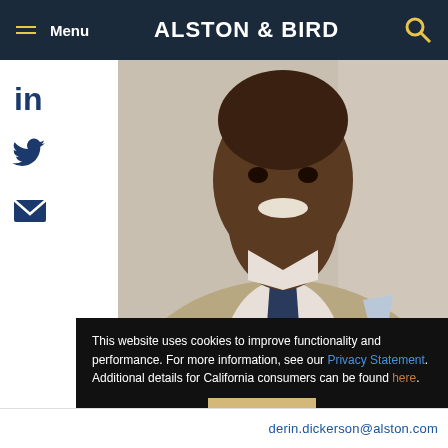Menu | ALSTON & BIRD
[Figure (photo): Professional headshot of a man in a tan suit with a navy tie, smiling]
This website uses cookies to improve functionality and performance. For more information, see our Privacy Statement. Additional details for California consumers can be found here.
Close
derin.dickerson@alston.com